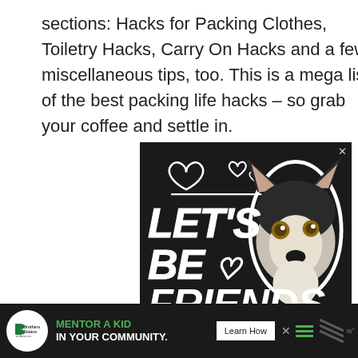sections: Hacks for Packing Clothes, Toiletry Hacks, Carry On Hacks and a few miscellaneous tips, too. This is a mega list of the best packing life hacks – so grab your coffee and settle in.
[Figure (illustration): Advertisement banner with dark background showing 'LET'S BE FRIENDS' text in bold italic white letters, heart outlines, and a husky dog photo on the right side with a close X button in top right corner.]
[Figure (illustration): Bottom banner advertisement for Big Brothers Big Sisters with green text 'MENTOR A KID IN YOUR COMMUNITY.' on dark background, Learn How button, and organization logo on white circle.]